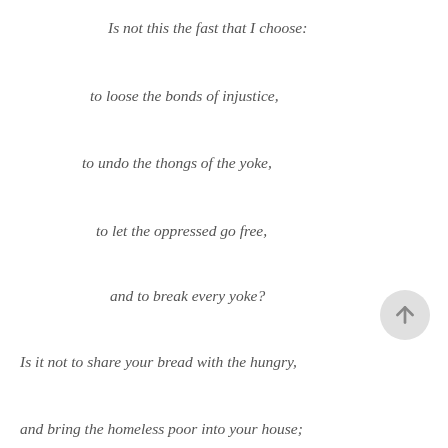Is not this the fast that I choose:
to loose the bonds of injustice,
to undo the thongs of the yoke,
to let the oppressed go free,
and to break every yoke?
Is it not to share your bread with the hungry,
and bring the homeless poor into your house;